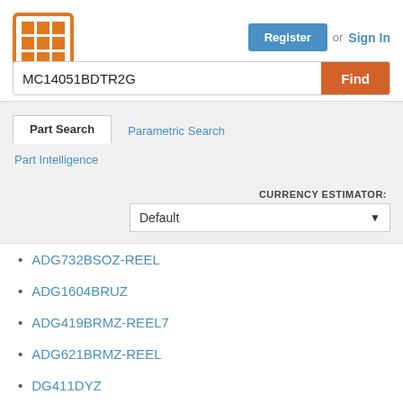[Figure (logo): Orange grid/matrix logo icon]
Register  or  Sign In
MC14051BDTR2G
Find
Part Search
Parametric Search
Part Intelligence
CURRENCY ESTIMATOR:
Default
ADG732BSOZ-REEL
ADG1604BRUZ
ADG419BRMZ-REEL7
ADG621BRMZ-REEL
DG411DYZ
ADG849YKSZ-REEL7
NC7SB3157P6X